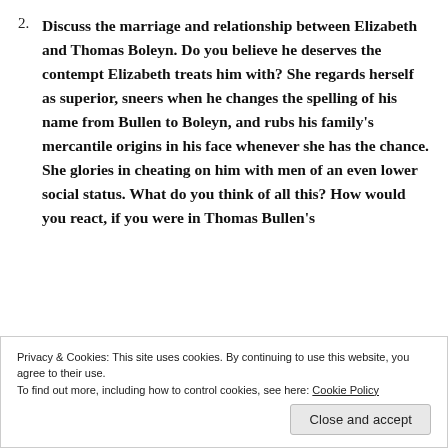2. Discuss the marriage and relationship between Elizabeth and Thomas Boleyn. Do you believe he deserves the contempt Elizabeth treats him with? She regards herself as superior, sneers when he changes the spelling of his name from Bullen to Boleyn, and rubs his family's mercantile origins in his face whenever she has the chance. She glories in cheating on him with men of an even lower social status. What do you think of all this? How would you react, if you were in Thomas Bullen's
Privacy & Cookies: This site uses cookies. By continuing to use this website, you agree to their use.
To find out more, including how to control cookies, see here: Cookie Policy